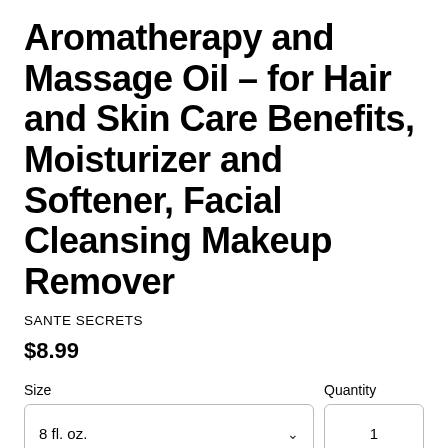Aromatherapy and Massage Oil – for Hair and Skin Care Benefits, Moisturizer and Softener, Facial Cleansing Makeup Remover
SANTE SECRETS
$8.99
Size
8 fl. oz.
Quantity
1